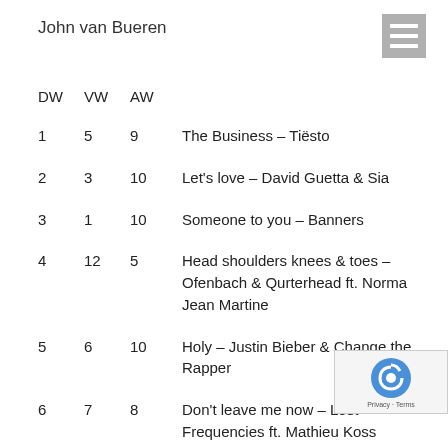John van Bueren
| DW | VW | AW |  |
| --- | --- | --- | --- |
| 1 | 5 | 9 | The Business – Tiësto |
| 2 | 3 | 10 | Let's love – David Guetta & Sia |
| 3 | 1 | 10 | Someone to you – Banners |
| 4 | 12 | 5 | Head shoulders knees & toes – Ofenbach & Qurterhead ft. Norma Jean Martine |
| 5 | 6 | 10 | Holy – Justin Bieber & Change the Rapper |
| 6 | 7 | 8 | Don't leave me now – Lost Frequencies ft. Mathieu Koss |
| 7 | 2 | 10 | Head & Heart – Joel Corry & MNEK |